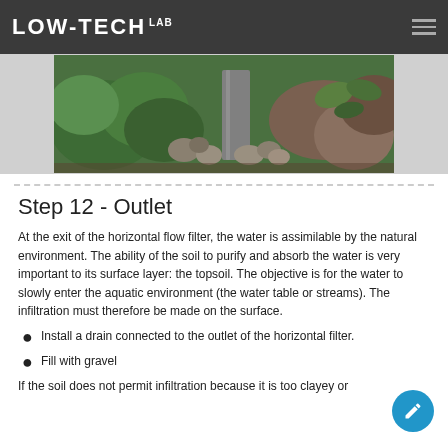LOW-TECH LAB
[Figure (photo): Outdoor photo showing stones/gravel and green vegetation, likely a horizontal flow filter outlet setup in a natural environment.]
Step 12 - Outlet
At the exit of the horizontal flow filter, the water is assimilable by the natural environment. The ability of the soil to purify and absorb the water is very important to its surface layer: the topsoil. The objective is for the water to slowly enter the aquatic environment (the water table or streams). The infiltration must therefore be made on the surface.
Install a drain connected to the outlet of the horizontal filter.
Fill with gravel
If the soil does not permit infiltration because it is too clayey or